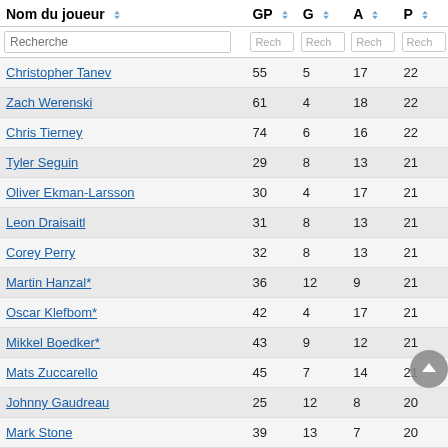| Nom du joueur | GP | G | A | P |
| --- | --- | --- | --- | --- |
| Christopher Tanev | 55 | 5 | 17 | 22 |
| Zach Werenski | 61 | 4 | 18 | 22 |
| Chris Tierney | 74 | 6 | 16 | 22 |
| Tyler Seguin | 29 | 8 | 13 | 21 |
| Oliver Ekman-Larsson | 30 | 4 | 17 | 21 |
| Leon Draisaitl | 31 | 8 | 13 | 21 |
| Corey Perry | 32 | 8 | 13 | 21 |
| Martin Hanzal* | 36 | 12 | 9 | 21 |
| Oscar Klefbom* | 42 | 4 | 17 | 21 |
| Mikkel Boedker* | 43 | 9 | 12 | 21 |
| Mats Zuccarello | 45 | 7 | 14 | 21 |
| Johnny Gaudreau | 25 | 12 | 8 | 20 |
| Mark Stone | 39 | 13 | 7 | 20 |
| Brady Skjei | 43 | 4 | 16 | 20 |
| Jussi Jokinen* | 43 | 6 | 14 | 20 |